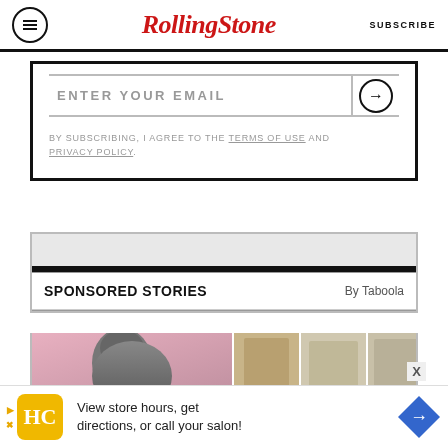RollingStone  SUBSCRIBE
ENTER YOUR EMAIL
BY SUBSCRIBING, I AGREE TO THE TERMS OF USE AND PRIVACY POLICY.
SPONSORED STORIES  By Taboola
[Figure (photo): Sponsored story thumbnails showing a person with dark hair against pink background, and three smaller images]
[Figure (infographic): Bottom advertisement banner: HC logo, View store hours, get directions, or call your salon! with blue diamond arrow icon]